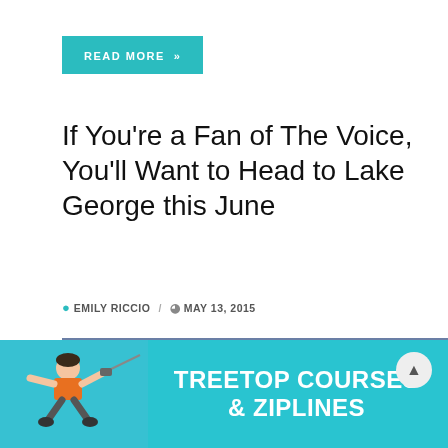READ MORE »
If You're a Fan of The Voice, You'll Want to Head to Lake George this June
EMILY RICCIO  /  MAY 13, 2015
[Figure (photo): Photo of a person zip-lining against a cloudy sky background]
[Figure (infographic): Teal advertisement banner with person zip-lining and text TREETOP COURSES & ZIPLINES]